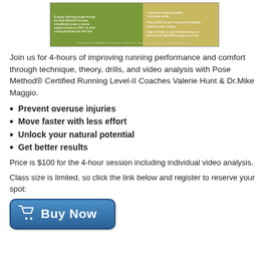[Figure (illustration): Banner/flyer image for a running clinic workshop showing green and tan/yellow sections with text about Pose Method running technique, benefits, pricing, and contact information.]
Join us for 4-hours of improving running performance and comfort through technique, theory, drills, and video analysis with Pose Method® Certified Running Level-II Coaches Valerie Hunt & Dr.Mike Maggio.
Prevent overuse injuries
Move faster with less effort
Unlock your natural potential
Get better results
Price is $100 for the 4-hour session including individual video analysis.
Class size is limited, so click the link below and register to reserve your spot:
[Figure (illustration): Blue 'Buy Now' button with shopping cart icon]